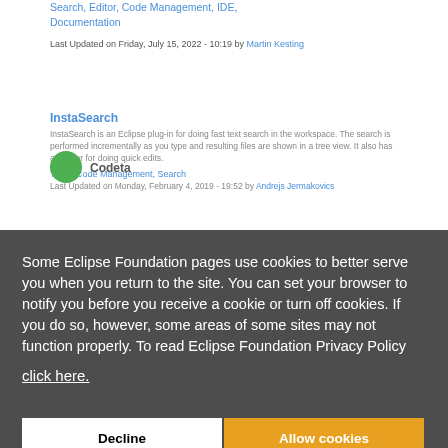Search, Editor, Code Management, IDE, Documentation
Last Updated on Friday, July 15, 2022 - 10:19 by Martin Kesting
InstaSearch
InstaSearch is an Eclipse plug-in for doing fast text search in the workspace. The search is performed incrementally as you type and resulting files are shown in a tree view. It also has an editor for doing quick edits.
Tools, Code Management, Search
Last Updated on Monday, February 4, 2019 - 19:52 by Andrejs Jermakovics
Some Eclipse Foundation pages use cookies to better serve you when you return to the site. You can set your browser to notify you before you receive a cookie or turn off cookies. If you do so, however, some areas of some sites may not function properly. To read Eclipse Foundation Privacy Policy click here.
Decline
Allow cookies
Codeta